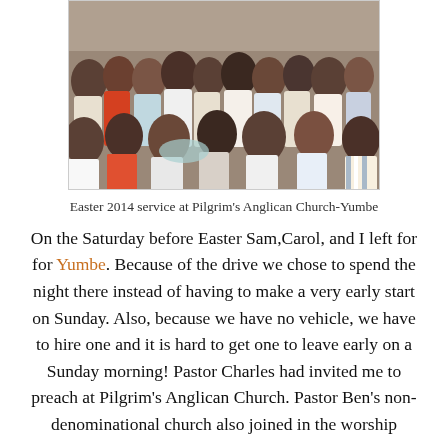[Figure (photo): A crowd of African people at an Easter church service, standing together in a church building.]
Easter 2014 service at Pilgrim's Anglican Church-Yumbe
On the Saturday before Easter Sam,Carol, and I left for for Yumbe. Because of the drive we chose to spend the night there instead of having to make a very early start on Sunday. Also, because we have no vehicle, we have to hire one and it is hard to get one to leave early on a Sunday morning!  Pastor Charles had invited me to preach at Pilgrim's Anglican Church. Pastor Ben's non-denominational church also joined in the worship